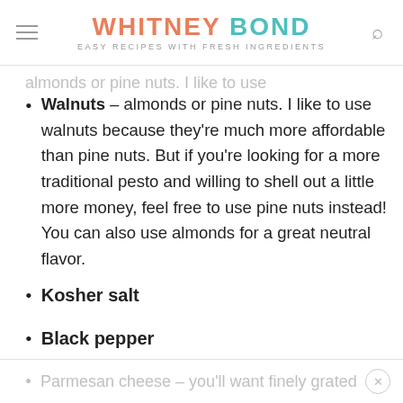WHITNEY BOND — EASY RECIPES WITH FRESH INGREDIENTS
Walnuts – almonds or pine nuts. I like to use walnuts because they're much more affordable than pine nuts. But if you're looking for a more traditional pesto and willing to shell out a little more money, feel free to use pine nuts instead! You can also use almonds for a great neutral flavor.
Kosher salt
Black pepper
Extra virgin olive oil
Parmesan cheese – you'll want finely grated